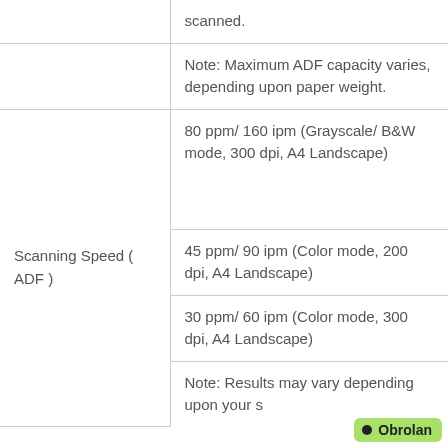|  |  |
| --- | --- |
|  | scanned. |
|  | Note: Maximum ADF capacity varies, depending upon paper weight. |
| Scanning Speed ( ADF ) | 80 ppm/ 160 ipm (Grayscale/ B&W mode, 300 dpi, A4 Landscape) |
|  | 45 ppm/ 90 ipm (Color mode, 200 dpi, A4 Landscape) |
|  | 30 ppm/ 60 ipm (Color mode, 300 dpi, A4 Landscape) |
|  | Note: Results may vary depending upon your s... |